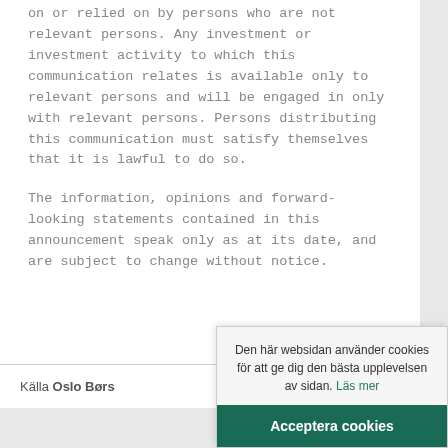on or relied on by persons who are not relevant persons. Any investment or investment activity to which this communication relates is available only to relevant persons and will be engaged in only with relevant persons. Persons distributing this communication must satisfy themselves that it is lawful to do so.
The information, opinions and forward-looking statements contained in this announcement speak only as at its date, and are subject to change without notice.
Källa Oslo Børs
Den här websidan använder cookies för att ge dig den bästa upplevelsen av sidan. Läs mer
Acceptera cookies